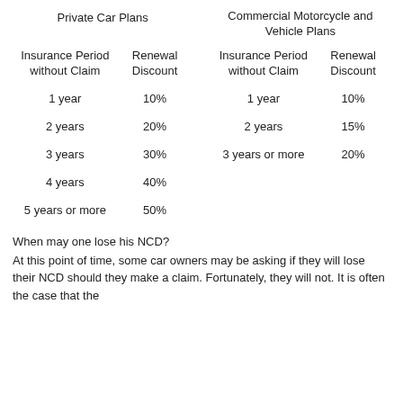| Private Car Plans – Insurance Period without Claim | Private Car Plans – Renewal Discount | Commercial Motorcycle and Vehicle Plans – Insurance Period without Claim | Commercial Motorcycle and Vehicle Plans – Renewal Discount |
| --- | --- | --- | --- |
| 1 year | 10% | 1 year | 10% |
| 2 years | 20% | 2 years | 15% |
| 3 years | 30% | 3 years or more | 20% |
| 4 years | 40% |  |  |
| 5 years or more | 50% |  |  |
When may one lose his NCD?
At this point of time, some car owners may be asking if they will lose their NCD should they make a claim. Fortunately, they will not. It is often the case that the